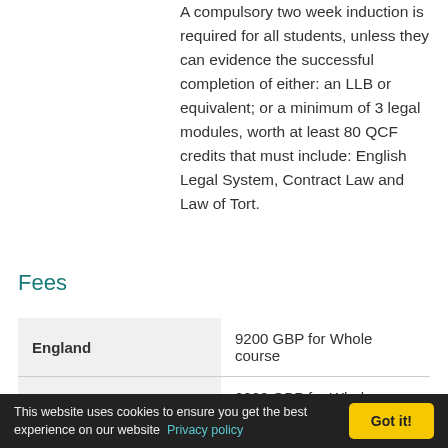A compulsory two week induction is required for all students, unless they can evidence the successful completion of either: an LLB or equivalent; or a minimum of 3 legal modules, worth at least 80 QCF credits that must include: English Legal System, Contract Law and Law of Tort.
Fees
| England | 9200 GBP for Whole course |
| Northern Ireland | 9200 GBP for Whole course, |
This website uses cookies to ensure you get the best experience on our website  Privacy policy  Got it!